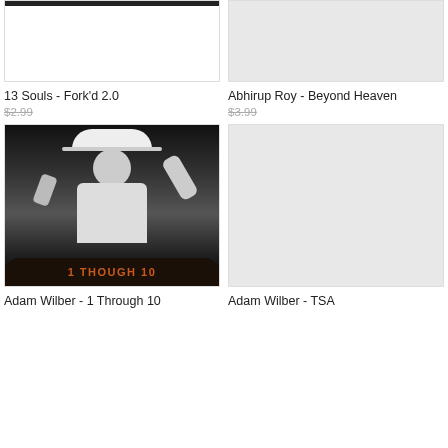[Figure (photo): Top portion of album/product image for 13 Souls - Fork'd 2.0, partially cropped, black bar at top]
13 Souls - Fork'd 2.0
$2.99
[Figure (photo): Top portion of album/product image for Abhirup Roy - Beyond Heaven, white/blank image]
Abhirup Roy - Beyond Heaven
$3.99
[Figure (photo): Photo of Adam Wilber performing on stage in black and white, wearing white hat and suit, with '1 THOUGH 10' text banner at bottom in orange]
Adam Wilber - 1 Through 10
[Figure (photo): Blank/white product image for Adam Wilber - TSA]
Adam Wilber - TSA